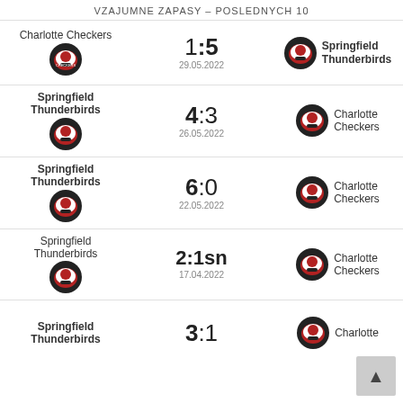VZAJUMNE ZAPASY - POSLEDNYCH 10
Charlotte Checkers 1:5 Springfield Thunderbirds 29.05.2022
Springfield Thunderbirds 4:3 Charlotte Checkers 26.05.2022
Springfield Thunderbirds 6:0 Charlotte Checkers 22.05.2022
Springfield Thunderbirds 2:1sn Charlotte Checkers 17.04.2022
Springfield Thunderbirds 3:1 Charlotte